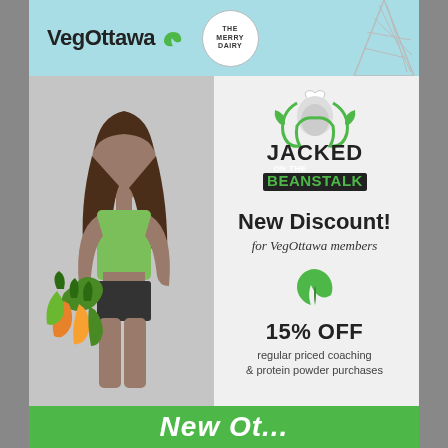VegOttawa | The Merry Dairy
[Figure (photo): Athletic woman in green sports bra and shorts holding colorful leafy vegetables, standing on grey background]
[Figure (logo): Jacked on the Beanstalk logo with muscular figure wrapped in green beanstalk vines]
New Discount!
for VegOttawa members
[Figure (logo): Green leaf/VegOttawa logo icon]
15% OFF
regular priced coaching & protein powder purchases
New Ot...